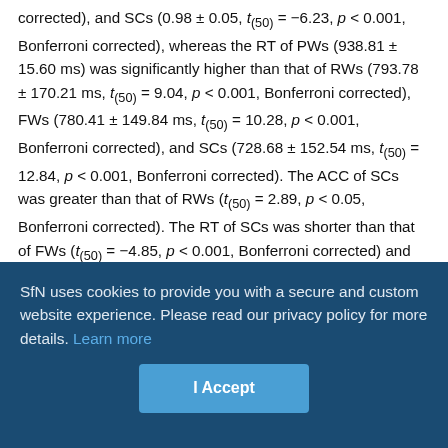corrected), and SCs (0.98 ± 0.05, t(50) = −6.23, p < 0.001, Bonferroni corrected), whereas the RT of PWs (938.81 ± 15.60 ms) was significantly higher than that of RWs (793.78 ± 170.21 ms, t(50) = 9.04, p < 0.001, Bonferroni corrected), FWs (780.41 ± 149.84 ms, t(50) = 10.28, p < 0.001, Bonferroni corrected), and SCs (728.68 ± 152.54 ms, t(50) = 12.84, p < 0.001, Bonferroni corrected). The ACC of SCs was greater than that of RWs (t(50) = 2.89, p < 0.05, Bonferroni corrected). The RT of SCs was shorter than that of FWs (t(50) = −4.85, p < 0.001, Bonferroni corrected) and RWs (t(50) = −5.30, p < 0.001, Bonferroni corrected). Together, subjects showed poorest performance in PW recognition compared with the other three conditions but better performance for SCs in the lexical decision task.
SfN uses cookies to provide you with a secure and custom website experience. Please read our privacy policy for more details. Learn more